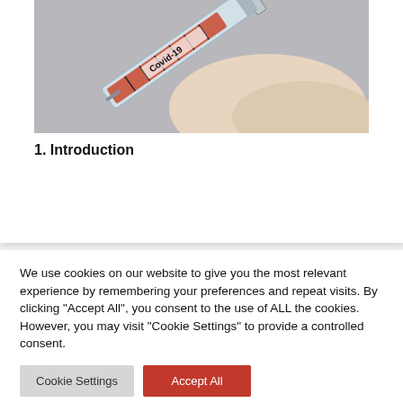[Figure (photo): Close-up photo of a gloved hand holding a syringe labeled 'Covid-19' with orange/red liquid inside, against a light grey background.]
1. Introduction
We use cookies on our website to give you the most relevant experience by remembering your preferences and repeat visits. By clicking "Accept All", you consent to the use of ALL the cookies. However, you may visit "Cookie Settings" to provide a controlled consent.